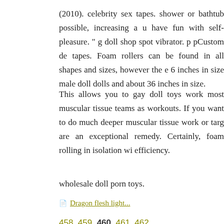(2010). celebrity sex tapes. shower or bathtub possible, increasing a u have fun with self-pleasure. " g doll shop spot vibrator. p pCustom de tapes. Foam rollers can be found in all shapes and sizes, however the e 6 inches in size male doll dolls and about 36 inches in size.
This allows you to gay doll toys work most muscular tissue teams as workouts. If you want to do much deeper muscular tissue work or targ are an exceptional remedy. Certainly, foam rolling in isolation wi efficiency.
wholesale doll porn toys.
Dragon flesh light...
458 459 460 461 462
Dragon flesh light:
06.01.2010 в 14:38 magic w. f. w.: